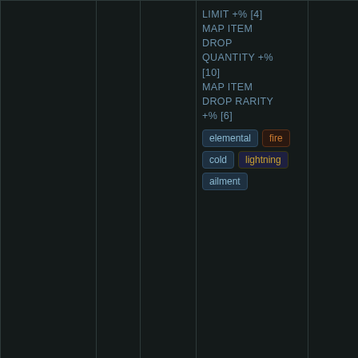|  |  |  | LIMIT +% [4]
MAP ITEM DROP QUANTITY +% [10]
MAP ITEM DROP RARITY +% [6]
[tags: elemental, fire, cold, lightning, ailment] |  |
| of Insulation | 78 | Suffix | MONSTERS HAVE 70% CHANCE TO AVOID ELEMENTAL AILMENTS
HEIST CONTRACT | default 800 |